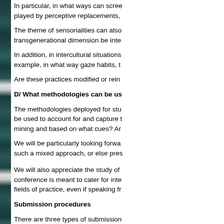In particular, in what ways can scree... played by perceptive replacements,
The theme of sensorialities can also... transgenerational dimension be inte...
In addition, in intercultural situations... example, in what way gaze habits, t...
Are these practices modified or rein...
D/ What methodologies can be us...
The methodologies deployed for stu... be used to account for and capture ... mining and based on what cues? An...
We will be particularly looking forwa... such a mixed approach, or else pres...
We will also appreciate the study of ... conference is meant to cater for inte... fields of practice, even if speaking fr...
Submission procedures
There are three types of submission...
oral presentations
symposia